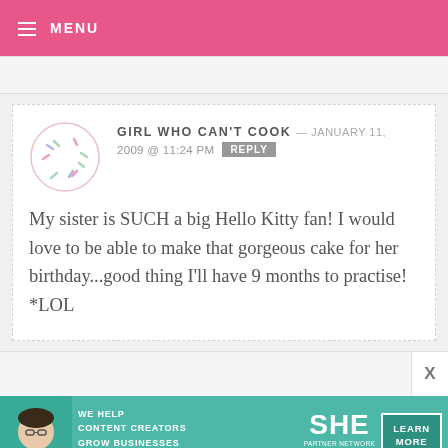≡ MENU
GIRL WHO CAN'T COOK — JANUARY 11, 2009 @ 11:24 PM REPLY
My sister is SUCH a big Hello Kitty fan! I would love to be able to make that gorgeous cake for her birthday...good thing I'll have 9 months to practise! *LOL
[Figure (photo): SHE Media Partner Network advertisement banner with woman at laptop, teal background, 'We Help Content Creators Grow Businesses Through...' text and 'Learn More' button]